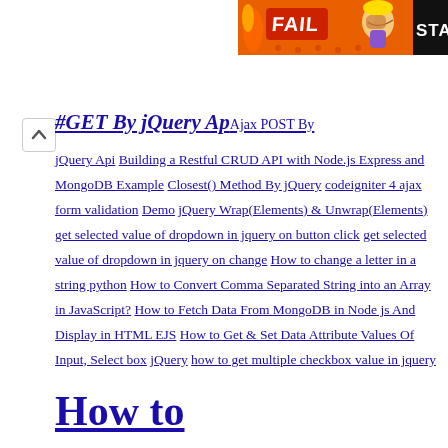[Figure (illustration): FAIL banner advertisement with orange/red flame background, cartoon character, and 'STA' text on right side]
Ajax POST By jQuery Api Building a Restful CRUD API with Node.js Express and MongoDB Example Closest() Method By jQuery codeigniter 4 ajax form validation Demo jQuery Wrap(Elements) & Unwrap(Elements) get selected value of dropdown in jquery on button click get selected value of dropdown in jquery on change How to change a letter in a string python How to Convert Comma Separated String into an Array in JavaScript? How to Fetch Data From MongoDB in Node js And Display in HTML EJS How to Get & Set Data Attribute Values Of Input, Select box jQuery how to get multiple checkbox value in jquery How to